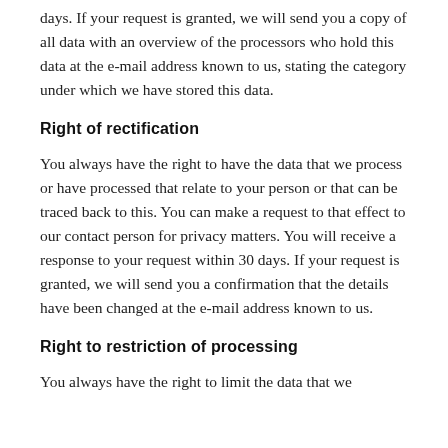days. If your request is granted, we will send you a copy of all data with an overview of the processors who hold this data at the e-mail address known to us, stating the category under which we have stored this data.
Right of rectification
You always have the right to have the data that we process or have processed that relate to your person or that can be traced back to this. You can make a request to that effect to our contact person for privacy matters. You will receive a response to your request within 30 days. If your request is granted, we will send you a confirmation that the details have been changed at the e-mail address known to us.
Right to restriction of processing
You always have the right to limit the data that we